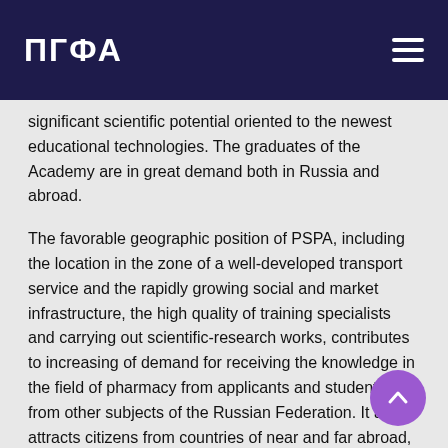ПГФА
significant scientific potential oriented to the newest educational technologies. The graduates of the Academy are in great demand both in Russia and abroad.
The favorable geographic position of PSPA, including the location in the zone of a well-developed transport service and the rapidly growing social and market infrastructure, the high quality of training specialists and carrying out scientific-research works, contributes to increasing of demand for receiving the knowledge in the field of pharmacy from applicants and students from other subjects of the Russian Federation. It also attracts citizens from countries of near and far abroad, such as Israel, Morocco, Syria, Sudan, Tunisia, Jordan, Saudi Arabia, Afghanistan, Lebanon, Pakistan, Azerbaijan, Uzbekistan, Kazakhstan, Georgia and others.
The stable development of foreign economic and other relations between Russia and the countries of the near and